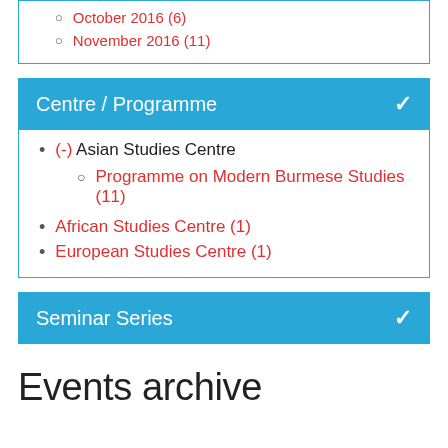October 2016 (6)
November 2016 (11)
Centre / Programme
(-) Asian Studies Centre
Programme on Modern Burmese Studies (11)
African Studies Centre (1)
European Studies Centre (1)
Seminar Series
Events archive